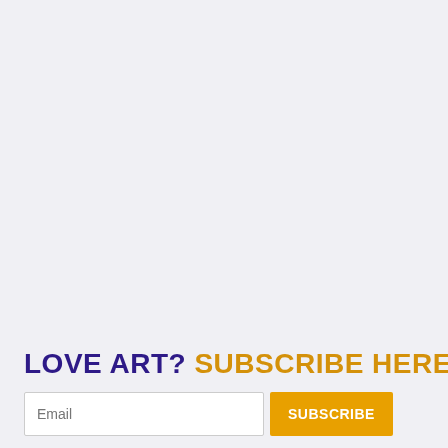LOVE ART? SUBSCRIBE HERE!
Email